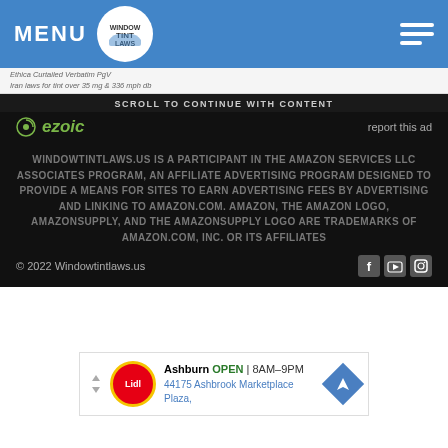MENU
Ethica Curtailed Verbatim PgV
Iran laws for tint over 35 mg & 336 mph db
SCROLL TO CONTINUE WITH CONTENT
[Figure (logo): Ezoic logo with green circle icon and italic text 'ezoic', with 'report this ad' link on the right]
WINDOWTINTLAWS.US IS A PARTICIPANT IN THE AMAZON SERVICES LLC ASSOCIATES PROGRAM, AN AFFILIATE ADVERTISING PROGRAM DESIGNED TO PROVIDE A MEANS FOR SITES TO EARN ADVERTISING FEES BY ADVERTISING AND LINKING TO AMAZON.COM. AMAZON, THE AMAZON LOGO, AMAZONSUPPLY, AND THE AMAZONSUPPLY LOGO ARE TRADEMARKS OF AMAZON.COM, INC. OR ITS AFFILIATES
© 2022 Windowtintlaws.us
[Figure (screenshot): Lidl store ad banner showing Ashburn OPEN 8AM-9PM, 44175 Ashbrook Marketplace Plaza, with navigation arrow icon]